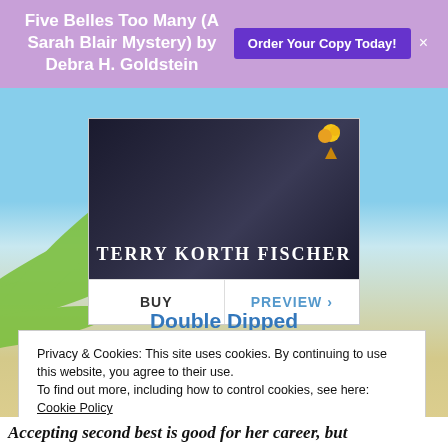Five Belles Too Many (A Sarah Blair Mystery) by Debra H. Goldstein
[Figure (screenshot): Purple promotional banner with book title and 'Order Your Copy Today!' button]
[Figure (photo): Book cover showing 'Terry Korth Fischer' in white serif text on dark background with ice cream cone image]
BUY | PREVIEW >
Double Dipped (One Scoop or Two)
by Terry Korth Fischer
Privacy & Cookies: This site uses cookies. By continuing to use this website, you agree to their use.
To find out more, including how to control cookies, see here:
Cookie Policy
Close and accept
Accepting second best is good for her career, but